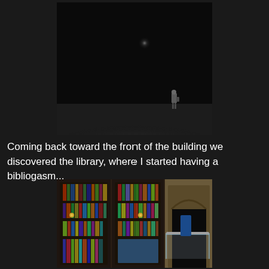[Figure (photo): Dark atmospheric photo of a large dark room with a faint light source in the upper area and a small figure of a person standing in the lower right area of the scene]
Coming back toward the front of the building we discovered the library, where I started having a bibliogasm...
[Figure (photo): Interior photo of a library with dark wood paneling, floor-to-ceiling bookshelves filled with colorful books, and a doorway with an arched entrance leading to another room with a staircase and glass railing]